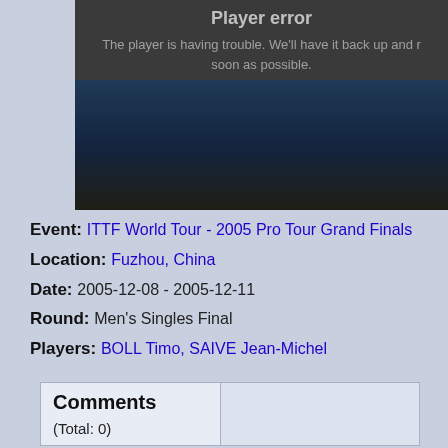[Figure (screenshot): Video player error screen showing 'Player error' message with text 'The player is having trouble. We'll have it back up and running as soon as possible.' overlaid on a blurred table tennis match background.]
Event: ITTF World Tour - 2005 Pro Tour Grand Finals
Location: Fuzhou, China
Date: 2005-12-08 - 2005-12-11
Round: Men's Singles Final
Players: BOLL Timo, SAIVE Jean-Michel
| Comments |  |
| --- | --- |
| (Total: 0) |  |